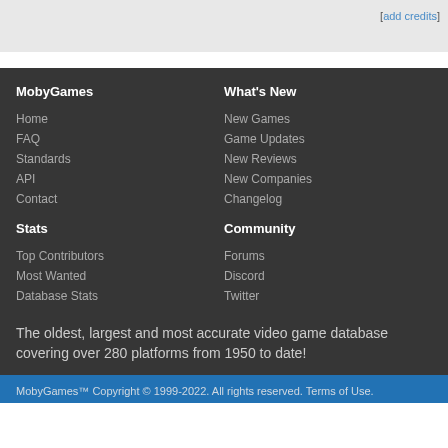[add credits]
MobyGames
Home
FAQ
Standards
API
Contact
Stats
Top Contributors
Most Wanted
Database Stats
What's New
New Games
Game Updates
New Reviews
New Companies
Changelog
Community
Forums
Discord
Twitter
The oldest, largest and most accurate video game database covering over 280 platforms from 1950 to date!
MobyGames™ Copyright © 1999-2022. All rights reserved. Terms of Use.